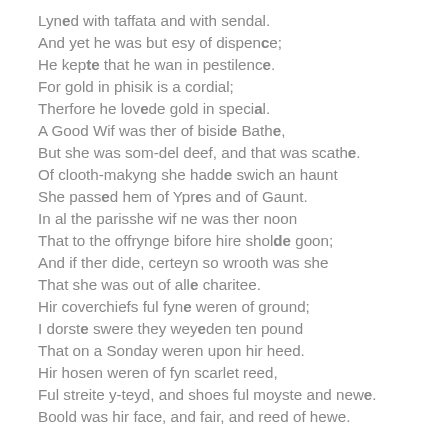Lyned with taffata and with sendal.
And yet he was but esy of dispence;
He kepte that he wan in pestilence.
For gold in phisik is a cordial;
Therfore he lovede gold in special.
A Good Wif was ther of biside Bathe,
But she was som-del deef, and that was scathe.
Of clooth-makyng she hadde swich an haunt
She passed hem of Ypres and of Gaunt.
In al the parisshe wif ne was ther noon
That to the offrynge bifore hire sholde goon;
And if ther dide, certeyn so wrooth was she
That she was out of alle charitee.
Hir coverchiefs ful fyne weren of ground;
I dorste swere they weyeden ten pound
That on a Sonday weren upon hir heed.
Hir hosen weren of fyn scarlet reed,
Ful streite y-teyd, and shoes ful moyste and newe.
Boold was hir face, and fair, and reed of hewe.